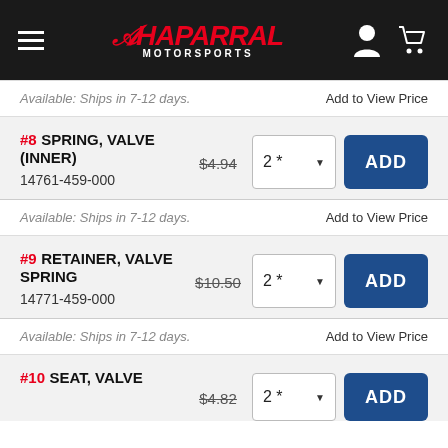Chaparral Motorsports
Available: Ships in 7-12 days. Add to View Price
#8 SPRING, VALVE (INNER) $4.94 2* ADD 14761-459-000
Available: Ships in 7-12 days. Add to View Price
#9 RETAINER, VALVE SPRING $10.50 2* ADD 14771-459-000
Available: Ships in 7-12 days. Add to View Price
#10 SEAT, VALVE $4.82 2* ADD